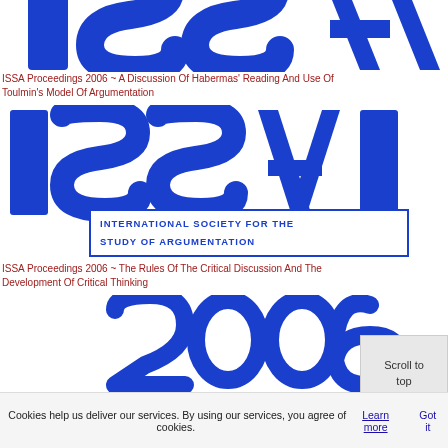[Figure (logo): ISSA logo top partial crop showing letters ISSA in blue]
ISSA Proceedings 2006 ~ A Discussion Of Habermas' Reading And Use Of Toulmin's Model Of Argumentation
[Figure (logo): ISSA 2006 logo - International Society for the Study of Argumentation, blue letters ISSA with text banner and 2006]
ISSA Proceedings 2006 ~ The Rules Of The Critical Discussion And The Development Of Critical Thinking
[Figure (logo): ISSA 2006 logo bottom partial showing 2006 in blue]
Scroll to top
Cookies help us deliver our services. By using our services, you agree of cookies. Learn more Got it